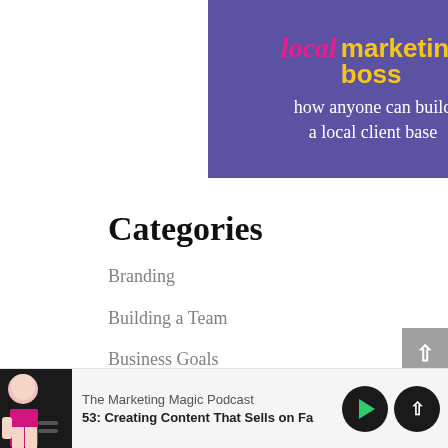[Figure (illustration): Purple banner with pink cursive 'local' text and yellow bold 'marketing boss' text, white subtitle 'how anyone can build a local client base']
Categories
Branding
Building a Team
Business Goals
The Marketing Magic Podcast — 53: Creating Content That Sells on Fa